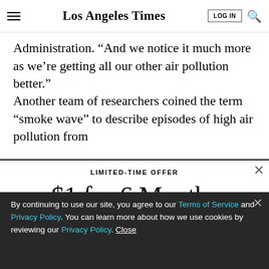Los Angeles Times
Administration. “And we notice it much more as we’re getting all our other air pollution better.”
Another team of researchers coined the term “smoke wave” to describe episodes of high air pollution from
LIMITED-TIME OFFER
$1 for 6 Months
SUBSCRIBE NOW
By continuing to use our site, you agree to our Terms of Service and Privacy Policy. You can learn more about how we use cookies by reviewing our Privacy Policy. Close